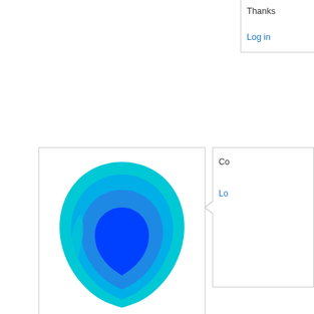Thanks
Log in
[Figure (illustration): User avatar: leaf/droplet shape in cyan and blue gradient tones]
unmaintained
Wed, 2020/07/15 - 02:05
Permalink
Co
Lo
[Figure (illustration): Generic user avatar: person silhouette with light skin tone, brown hair, wearing a blue shirt]
emsys
Wed, 2020/07/15 - 12:21